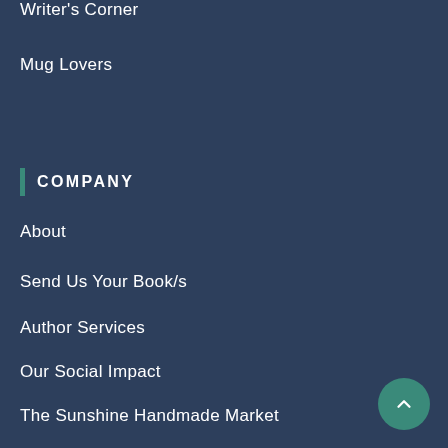Writer's Corner
Mug Lovers
Company
About
Send Us Your Book/s
Author Services
Our Social Impact
The Sunshine Handmade Market
Read Our Blog